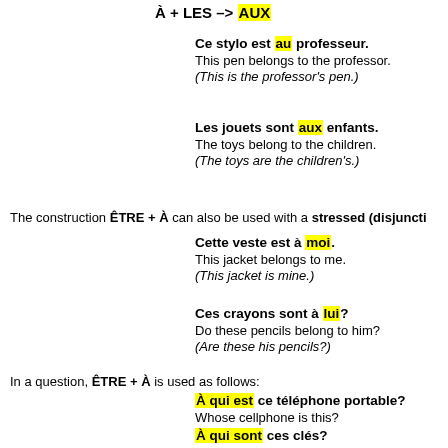À + LES → AUX
Ce stylo est au professeur.
This pen belongs to the professor.
(This is the professor's pen.)
Les jouets sont aux enfants.
The toys belong to the children.
(The toys are the children's.)
The construction ÊTRE + À can also be used with a stressed (disjunctive) pronoun:
Cette veste est à moi.
This jacket belongs to me.
(This jacket is mine.)
Ces crayons sont à lui?
Do these pencils belong to him?
(Are these his pencils?)
In a question, ÊTRE + À is used as follows:
À qui est ce téléphone portable?
Whose cellphone is this?
À qui sont ces clés?